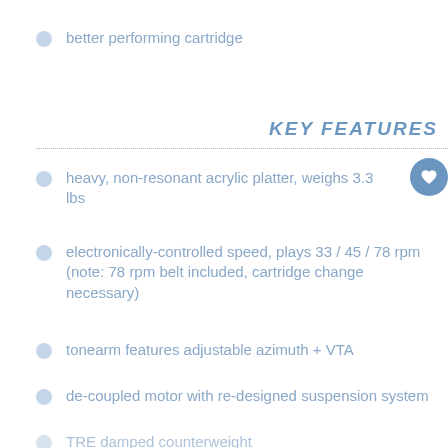better performing cartridge
KEY FEATURES
heavy, non-resonant acrylic platter, weighs 3.3 lbs
electronically-controlled speed, plays 33 / 45 / 78 rpm (note: 78 rpm belt included, cartridge change necessary)
tonearm features adjustable azimuth + VTA
de-coupled motor with re-designed suspension system
TRE damped counterweight